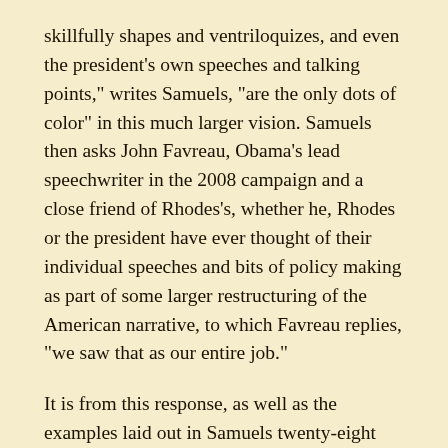skillfully shapes and ventriloquizes, and even the president's own speeches and talking points," writes Samuels, "are the only dots of color" in this much larger vision. Samuels then asks John Favreau, Obama's lead speechwriter in the 2008 campaign and a close friend of Rhodes's, whether he, Rhodes or the president have ever thought of their individual speeches and bits of policy making as part of some larger restructuring of the American narrative, to which Favreau replies, "we saw that as our entire job."
It is from this response, as well as the examples laid out in Samuels twenty-eight page piece in which the most damning conclusion can be reached. That conclusion being that actual policies, facts, and even reality itself were of little value to the prior administration as creating and controlling the narrative took precedence over all that actually mattered. For instance, in the hours leading up to